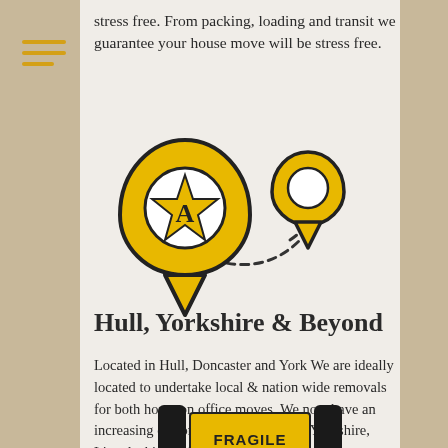stress free. From packing, loading and transit we guarantee your house move will be stress free.
[Figure (illustration): Two yellow map location pins — a large one with a star letter A and a smaller one — connected by a dashed curved line indicating a route or journey between two locations.]
Hull, Yorkshire & Beyond
Located in Hull, Doncaster and York We are ideally located to undertake local & nation wide removals for both home on office moves. We now have an increasing customer base that covers Yorkshire, Lincolnshire and beyond.
[Figure (illustration): Partial view of a yellow fragile removal box being carried by hands, with the word FRAGILE partially visible on the box.]